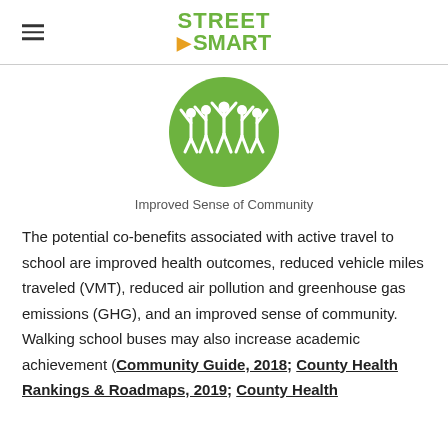STREET SMART
[Figure (illustration): Green circle icon with white silhouettes of people with arms raised, representing community]
Improved Sense of Community
The potential co-benefits associated with active travel to school are improved health outcomes, reduced vehicle miles traveled (VMT), reduced air pollution and greenhouse gas emissions (GHG), and an improved sense of community. Walking school buses may also increase academic achievement (Community Guide, 2018; County Health Rankings & Roadmaps, 2019; County Health